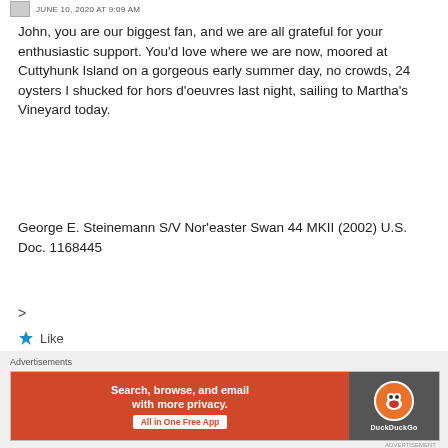JUNE 10, 2020 AT 9:09 AM
John, you are our biggest fan, and we are all grateful for your enthusiastic support. You’d love where we are now, moored at Cuttyhunk Island on a gorgeous early summer day, no crowds, 24 oysters I shucked for hors d’oeuvres last night, sailing to Martha’s Vineyard today.
George E. Steinemann S/V Nor’easter Swan 44 MKII (2002) U.S. Doc. 1168445
>
★ Like
Reply
Advertisements
[Figure (screenshot): DuckDuckGo advertisement banner: orange left panel with text 'Search, browse, and email with more privacy. All in One Free App', dark right panel with DuckDuckGo duck logo and brand name.]